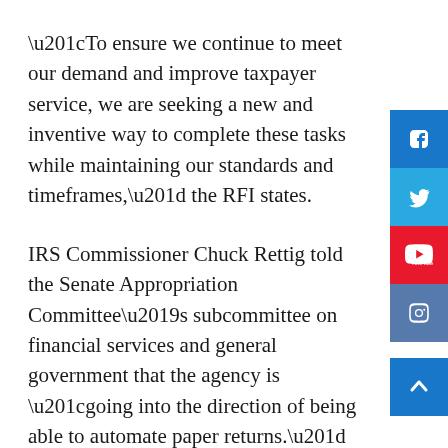“To ensure we continue to meet our demand and improve taxpayer service, we are seeking a new and inventive way to complete these tasks while maintaining our standards and timeframes,” the RFI states.
IRS Commissioner Chuck Rettig told the Senate Appropriation Committee’s subcommittee on financial services and general government that the agency is “going into the direction of being able to automate paper returns.”
“It would help from a staffing perspective. It would help from a cost perspective, and I